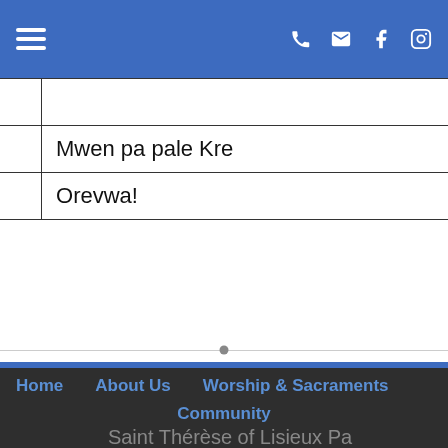Navigation bar with hamburger menu and icons (phone, email, Facebook, Instagram)
| many? |  |
| I do not speak Kreyol | Mwen pa pale Kre... |
| Goodbye! | Orevwa! |
Home | About Us | Worship & Sacraments | Community | Saint Thérèse of Lisieux Parish | The Catholic Church in Sanford & Springvale, Ma... | 66 North Avenue, Sanford, ME 04073 | (207) 324-2420 | sttherese@... | Mass Times & Directions